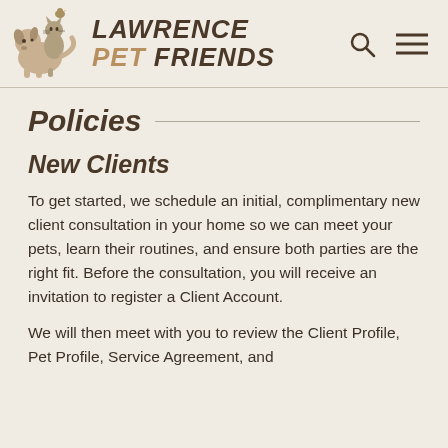Lawrence Pet Friends
Policies
New Clients
To get started, we schedule an initial, complimentary new client consultation in your home so we can meet your pets, learn their routines, and ensure both parties are the right fit. Before the consultation, you will receive an invitation to register a Client Account.
We will then meet with you to review the Client Profile, Pet Profile, Service Agreement, and...